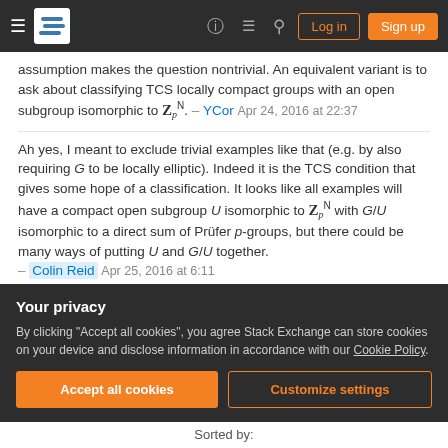Stack Exchange navigation bar with Log in and Sign up buttons
assumption makes the question nontrivial. An equivalent variant is to ask about classifying TCS locally compact groups with an open subgroup isomorphic to Z_p^N. – YCor Apr 24, 2016 at 22:37
Ah yes, I meant to exclude trivial examples like that (e.g. by also requiring G to be locally elliptic). Indeed it is the TCS condition that gives some hope of a classification. It looks like all examples will have a compact open subgroup U isomorphic to Z_p^N with G/U isomorphic to a direct sum of Prüfer p-groups, but there could be many ways of putting U and G/U together. – Colin Reid Apr 25, 2016 at 6:11
Your privacy
By clicking "Accept all cookies", you agree Stack Exchange can store cookies on your device and disclose information in accordance with our Cookie Policy.
Sorted by: